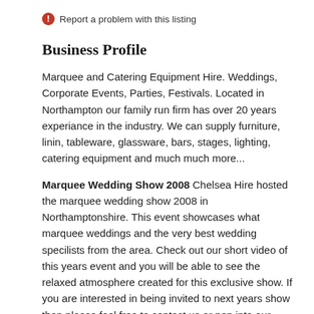Report a problem with this listing
Business Profile
Marquee and Catering Equipment Hire. Weddings, Corporate Events, Parties, Festivals. Located in Northampton our family run firm has over 20 years experiance in the industry. We can supply furniture, linin, tableware, glassware, bars, stages, lighting, catering equipment and much much more...
Marquee Wedding Show 2008 Chelsea Hire hosted the marquee wedding show 2008 in Northamptonshire. This event showcases what marquee weddings and the very best wedding specilists from the area. Check out our short video of this years event and you will be able to see the relaxed atmosphere created for this exclusive show. If you are interested in being invited to next years show then please feel free to contact us or pop into our showrooms located in Northampton. To see the video of this years event then please go to our website www.chelseahire.co.uk or click here